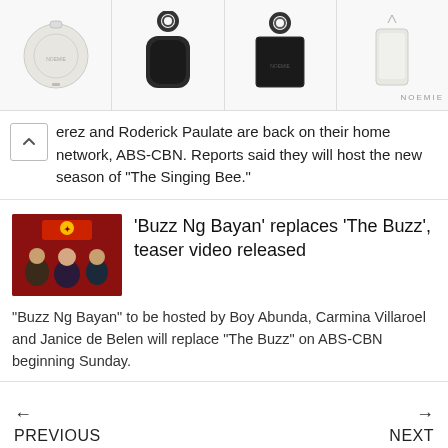[Figure (photo): Advertisement banner showing leather accessories (round white pouch, black AirPods case, black square pouch, white phone case) with Noemie brand logo in top-right area]
erez and Roderick Paulate are back on their home network, ABS-CBN. Reports said they will host the new season of “The Singing Bee.”
[Figure (photo): Thumbnail image for Buzz Ng Bayan article showing show hosts on red background]
'Buzz Ng Bayan' replaces 'The Buzz', teaser video released
“Buzz Ng Bayan” to be hosted by Boy Abunda, Carmina Villaroel and Janice de Belen will replace “The Buzz” on ABS-CBN beginning Sunday.
← PREVIOUS
NEXT →